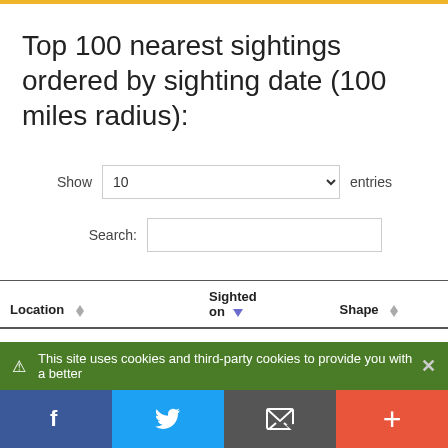Top 100 nearest sightings ordered by sighting date (100 miles radius):
Show 10 entries
Search:
| Location | Sighted on | Shape |
| --- | --- | --- |
| Lawrence, Kansas 66047 | 2020-08-25 | 3 blinking lights |
This site uses cookies and third-party cookies to provide you with a better